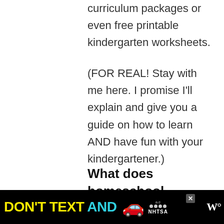curriculum packages or even free printable kindergarten worksheets.
(FOR REAL! Stay with me here. I promise I'll explain and give you a guide on how to learn AND have fun with your kindergartener.)
What does homeschool kindergarten look like?
[Figure (other): Advertisement banner: black background with yellow text 'DON'T TEXT' and cyan text 'AND', a red car emoji, an ad badge, NHTSA logo, a close button, and a W° logo on the right.]